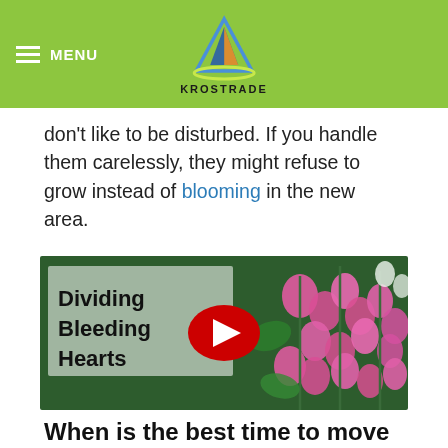MENU | KROSTRADE
don't like to be disturbed. If you handle them carelessly, they might refuse to grow instead of blooming in the new area.
[Figure (screenshot): YouTube video thumbnail showing bleeding heart flowers with text 'Dividing Bleeding Hearts' overlay and red play button]
When is the best time to move